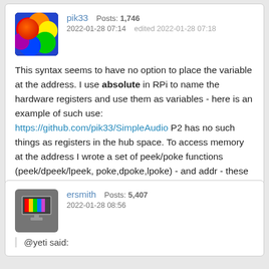pik33   Posts: 1,746
2022-01-28 07:14   edited 2022-01-28 07:18
This syntax seems to have no option to place the variable at the address. I use absolute in RPi to name the hardware registers and use them as variables - here is an example of such use: https://github.com/pik33/SimpleAudio P2 has no such things as registers in the hub space. To access memory at the address I wrote a set of peek/poke functions (peek/dpeek/lpeek, poke,dpoke,lpoke) - and addr - these functions should be a standard functions in any Basic 😊 - they are sufficient for me now.
ersmith   Posts: 5,407
2022-01-28 08:56
@yeti said: